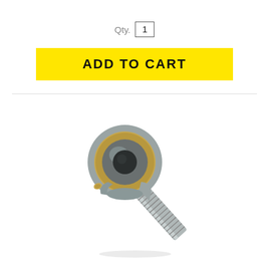Qty. 1
ADD TO CART
[Figure (photo): A rod end bearing (heim joint) with a spherical eye at the top and a threaded shank/bolt extending diagonally downward to the right. The bearing has a metallic silver body with a gold/bronze colored race ring and a small brass grease fitting on the side.]